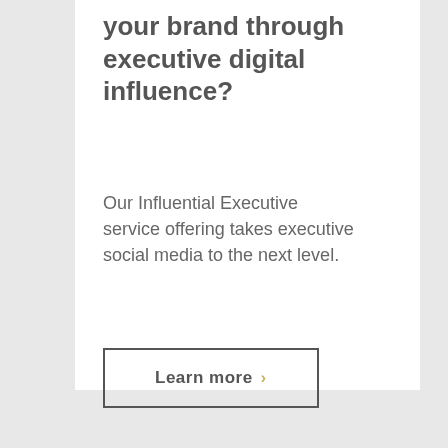your brand through executive digital influence?
Our Influential Executive service offering takes executive social media to the next level.
Learn more ›